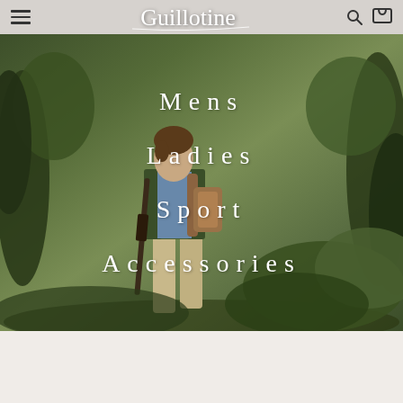Guillotine navigation bar with hamburger menu, logo, search and cart icons
[Figure (photo): Hero image of a man in countryside/woodland setting wearing a green vest and carrying a gun and backpack, overlaid with navigation menu items: Mens, Ladies, Sport, Accessories]
Mens
Ladies
Sport
Accessories